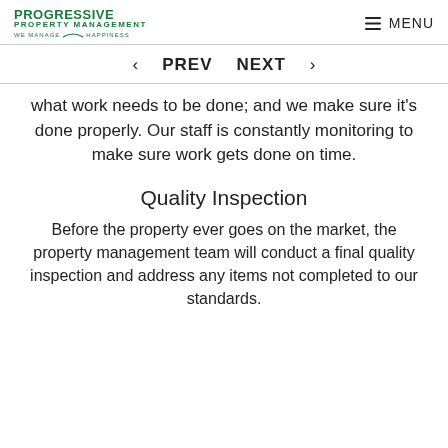PROGRESSIVE PROPERTY MANAGEMENT WE MANAGE HAPPINESS | MENU
‹ PREV   NEXT ›
what work needs to be done; and we make sure it's done properly. Our staff is constantly monitoring to make sure work gets done on time.
Quality Inspection
Before the property ever goes on the market, the property management team will conduct a final quality inspection and address any items not completed to our standards.